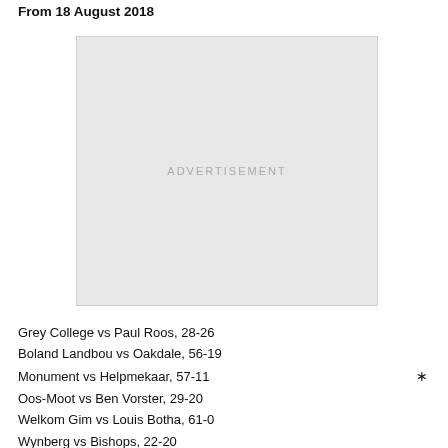From 18 August 2018
[Figure (other): Advertisement placeholder box with grey background and centered ADVERTISEMENT text]
Grey College vs Paul Roos, 28-26
Boland Landbou vs Oakdale, 56-19
Monument vs Helpmekaar, 57-11
Oos-Moot vs Ben Vorster, 29-20
Welkom Gim vs Louis Botha, 61-0
Wynberg vs Bishops, 22-20